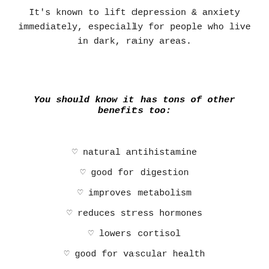It's known to lift depression & anxiety immediately, especially for people who live in dark, rainy areas.
You should know it has tons of other benefits too:
♡ natural antihistamine
♡ good for digestion
♡ improves metabolism
♡ reduces stress hormones
♡ lowers cortisol
♡ good for vascular health